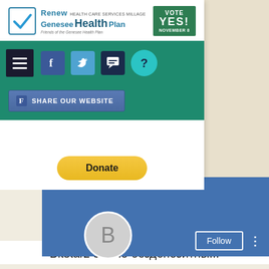[Figure (screenshot): Renew Genesee Health Plan website screenshot showing logo with 'VOTE YES! NOVEMBER 8' badge, navigation bar with hamburger menu and social media icons (Facebook, Twitter, chat, help), a 'SHARE OUR WEBSITE' Facebook button, and a yellow 'Donate' PayPal button]
[Figure (screenshot): Blue social media profile card with a 'Follow' button, three-dot menu, and a gray circular avatar with letter 'B']
Bitstarz casino бездепозитны...